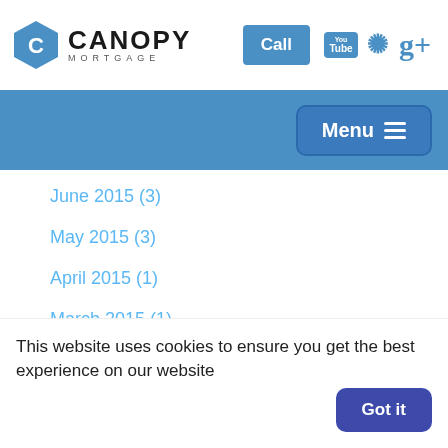[Figure (logo): Canopy Mortgage logo with hexagonal C icon, YouTube, Yelp, and Google+ icons, and a blue Call button]
Menu
June 2015 (3)
May 2015 (3)
April 2015 (1)
March 2015 (1)
February 2015 (2)
January 2015 (4)
December 2014 (5)
This website uses cookies to ensure you get the best experience on our website